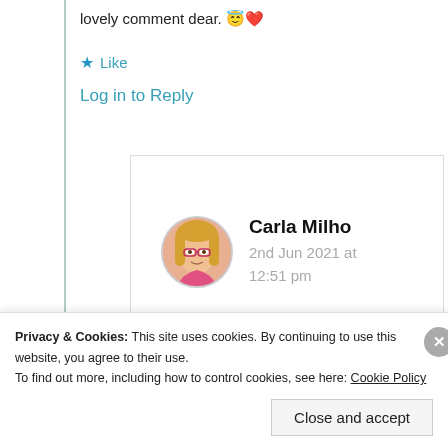lovely comment dear. 😇❤️
★ Like
Log in to Reply
Carla Milho
2nd Jun 2021 at 12:51 pm
Privacy & Cookies: This site uses cookies. By continuing to use this website, you agree to their use.
To find out more, including how to control cookies, see here: Cookie Policy
Close and accept